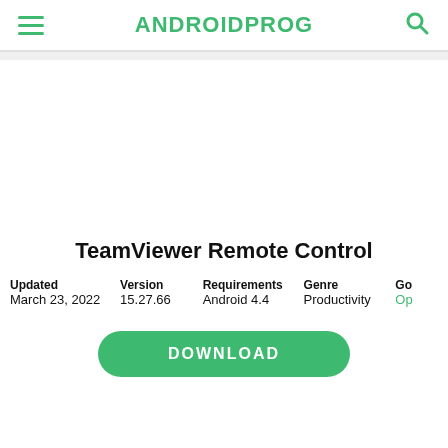ANDROIDPROG
TeamViewer Remote Control
| Updated | Version | Requirements | Genre | Go |
| --- | --- | --- | --- | --- |
| March 23, 2022 | 15.27.66 | Android 4.4 | Productivity | Op |
DOWNLOAD